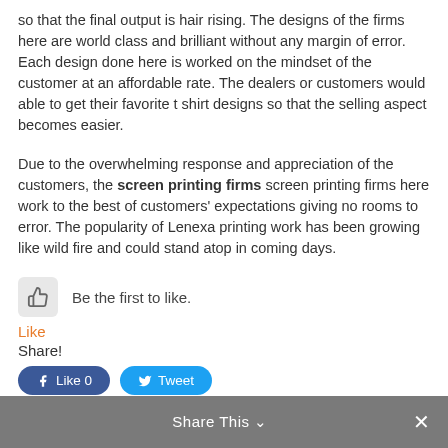so that the final output is hair rising. The designs of the firms here are world class and brilliant without any margin of error. Each design done here is worked on the mindset of the customer at an affordable rate. The dealers or customers would able to get their favorite t shirt designs so that the selling aspect becomes easier.
Due to the overwhelming response and appreciation of the customers, the screen printing firms screen printing firms here work to the best of customers' expectations giving no rooms to error. The popularity of Lenexa printing work has been growing like wild fire and could stand atop in coming days.
[Figure (other): Thumbs up icon in a grey rounded square button]
Be the first to like.
Like
Share!
[Figure (other): Facebook Like 0 button (blue rounded) and Twitter Tweet button (blue rounded)]
Share This ∨  ×